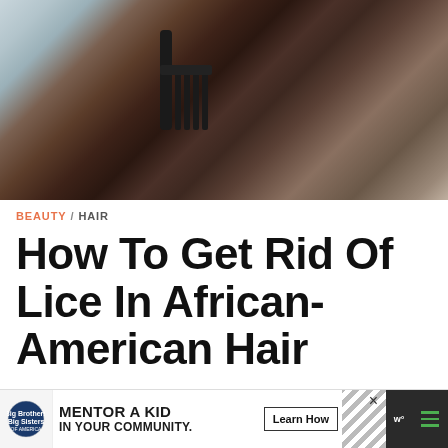[Figure (photo): Close-up photo of a Black woman holding a comb near her hair, wearing a white tank top, against a light background]
BEAUTY / HAIR
How To Get Rid Of Lice In African-American Hair
What can you do to safeguard and le...
[Figure (infographic): Advertisement banner: Big Brothers Big Sisters logo, 'MENTOR A KID IN YOUR COMMUNITY.' with 'Learn How' button, diagonal stripe pattern, hamburger menu icon with green lines, weather icon]